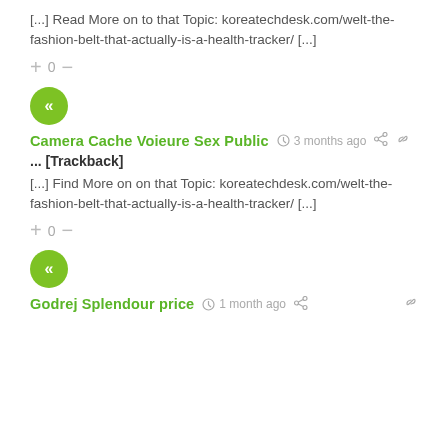[...] Read More on to that Topic: koreatechdesk.com/welt-the-fashion-belt-that-actually-is-a-health-tracker/ [...]
+ 0 −
[Figure (logo): Green circle avatar with white double left-arrow icon]
Camera Cache Voieure Sex Public  3 months ago
... [Trackback]
[...] Find More on on that Topic: koreatechdesk.com/welt-the-fashion-belt-that-actually-is-a-health-tracker/ [...]
+ 0 −
[Figure (logo): Green circle avatar with white double left-arrow icon]
Godrej Splendour price  1 month ago